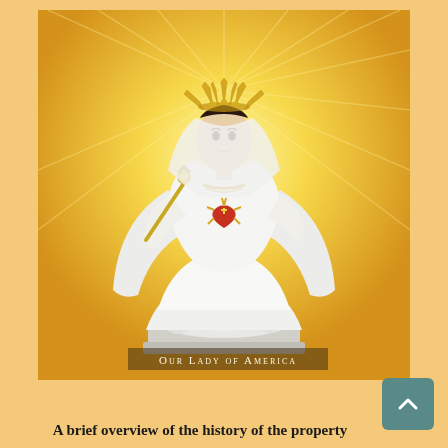[Figure (photo): A white statue of Our Lady of America standing on a cloud base, wearing a white robe and veil with a golden crown of rays, holding a scepter in her left hand and displaying a sacred heart on her chest, set against a golden radiant background. A label bar at the base reads 'Our Lady of America'.]
Our Lady of America
A brief overview of the history of the property